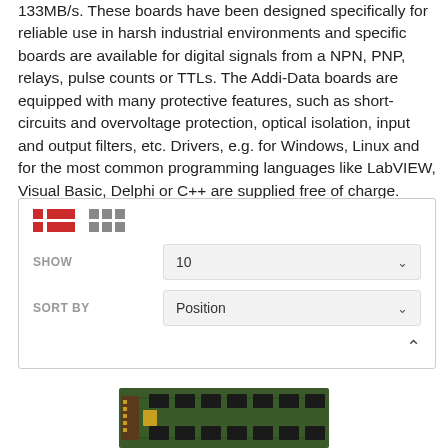133MB/s. These boards have been designed specifically for reliable use in harsh industrial environments and specific boards are available for digital signals from a NPN, PNP, relays, pulse counts or TTLs. The Addi-Data boards are equipped with many protective features, such as short-circuits and overvoltage protection, optical isolation, input and output filters, etc. Drivers, e.g. for Windows, Linux and for the most common programming languages like LabVIEW, Visual Basic, Delphi or C++ are supplied free of charge.
[Figure (screenshot): Filter/sort toolbar with list-view and grid-view toggle icons (red), SHOW dropdown set to 10, SORT BY dropdown set to Position, and a collapse chevron.]
[Figure (photo): Partial photo of a green PCB (printed circuit board) with connectors and chips visible.]